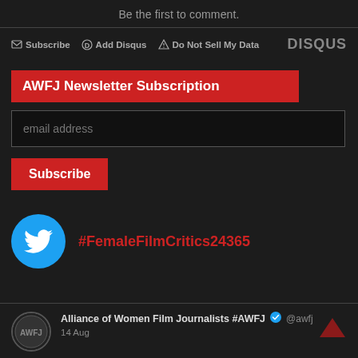Be the first to comment.
Subscribe  Add Disqus  Do Not Sell My Data  DISQUS
AWFJ Newsletter Subscription
email address
Subscribe
#FemaleFilmCritics24365
Alliance of Women Film Journalists #AWFJ  @awfj
14 Aug